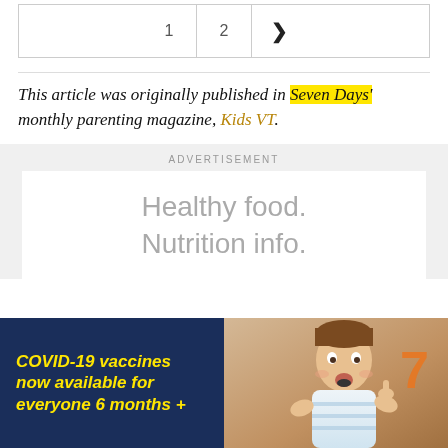| 1 | 2 | ❯ |
This article was originally published in Seven Days' monthly parenting magazine, Kids VT.
ADVERTISEMENT
Healthy food.
Nutrition info.
[Figure (infographic): Advertisement banner with dark navy left side showing yellow bold italic text 'COVID-19 vaccines now available for everyone 6 months +' and right side showing a child with surprised expression and a large orange number 7]